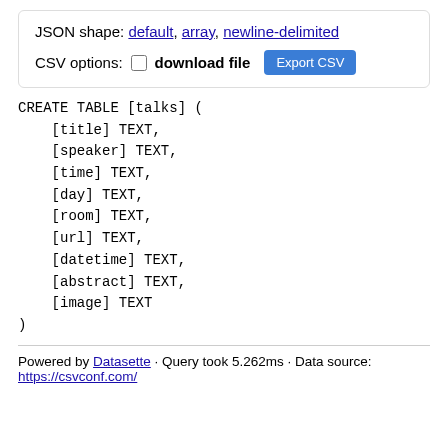JSON shape: default, array, newline-delimited
CSV options: □ download file  [Export CSV]
CREATE TABLE [talks] (
    [title] TEXT,
    [speaker] TEXT,
    [time] TEXT,
    [day] TEXT,
    [room] TEXT,
    [url] TEXT,
    [datetime] TEXT,
    [abstract] TEXT,
    [image] TEXT
)
Powered by Datasette · Query took 5.262ms · Data source: https://csvconf.com/